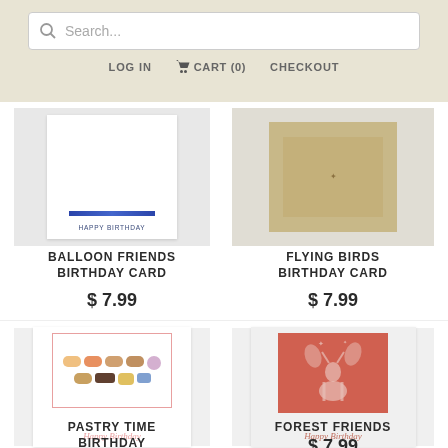[Figure (screenshot): Search bar with magnifying glass icon and placeholder text 'Search...']
LOG IN    🛒 CART (0)    CHECKOUT
[Figure (photo): Balloon Friends Birthday Card preview showing 'HAPPY BIRTHDAY' text with blue decoration line]
BALLOON FRIENDS
BIRTHDAY CARD
$ 7.99
[Figure (photo): Flying Birds Birthday Card preview with branch/wood element]
FLYING BIRDS
BIRTHDAY CARD
$ 7.99
[Figure (photo): Pastry Time Birthday Card showing various pastries and sweets in a bordered illustration with 'Happy Birthday' script text]
PASTRY TIME
BIRTHDAY
[Figure (photo): Forest Friends Birthday Card with red/coral silhouette design showing deer among trees with 'Happy Birthday' script]
FOREST FRIENDS
$ 7.99